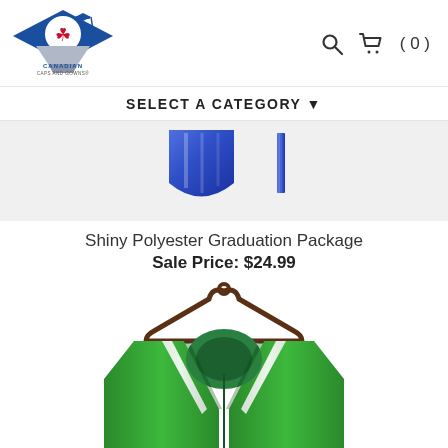[Figure (logo): Canadian Caps and Gowns logo — blue diamond shape with maple leaf and graduation cap, text CANADIAN CAPS AND GOWNS below]
[Figure (other): Search icon and shopping cart icon with (0) text in top right navigation]
SELECT A CATEGORY ▼
[Figure (photo): Blue shiny graduation cap/gown product shown partially — royal blue mortarboard and tassel on light gray background]
Shiny Polyester Graduation Package
Sale Price: $24.99
[Figure (photo): Green and white graduation gown on a dark wooden hanger, showing the collar/hood area with green satin and white stripe trim]